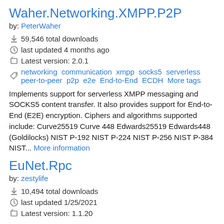Waher.Networking.XMPP.P2P
by: PeterWaher
59,546 total downloads
last updated 4 months ago
Latest version: 2.0.1
networking communication xmpp socks5 serverless peer-to-peer p2p e2e End-to-End ECDH More tags
Implements support for serverless XMPP messaging and SOCKS5 content transfer. It also provides support for End-to-End (E2E) encryption. Ciphers and algorithms supported include: Curve25519 Curve 448 Edwards25519 Edwards448 (Goldilocks) NIST P-192 NIST P-224 NIST P-256 NIST P-384 NIST... More information
EuNet.Rpc
by: zestylife
10,494 total downloads
last updated 1/25/2021
Latest version: 1.1.20